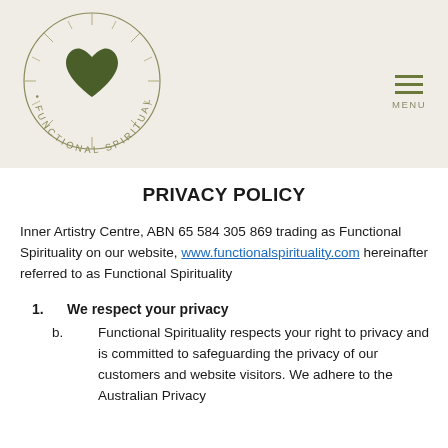[Figure (logo): Circular logo for Functional Spirituality with a dark green heart and radiating lines in the center, surrounded by dotted circle and curved text reading FUNCTIONAL SPIRITUALITY]
PRIVACY POLICY
Inner Artistry Centre, ABN 65 584 305 869 trading as Functional Spirituality on our website, www.functionalspirituality.com hereinafter referred to as Functional Spirituality
1.    We respect your privacy
b.    Functional Spirituality respects your right to privacy and is committed to safeguarding the privacy of our customers and website visitors. We adhere to the Australian Privacy